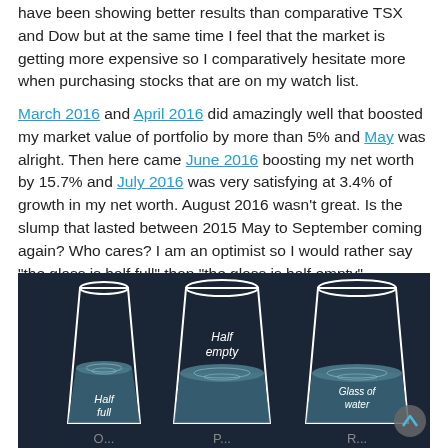have been showing better results than comparative TSX and Dow but at the same time I feel that the market is getting more expensive so I comparatively hesitate more when purchasing stocks that are on my watch list.
March 2016 and April 2016 did amazingly well that boosted my market value of portfolio by more than 5% and May was alright. Then here came June 2016 boosting my net worth by 15.7% and July 2016 was very satisfying at 3.4% of growth in my net worth. August 2016 wasn't great. Is the slump that lasted between 2015 May to September coming again? Who cares? I am an optimist so I would rather say “the glass is half full” than “the glass is half empty”
[Figure (illustration): Dark background illustration showing three glasses of water labeled 'Half full', 'Half empty', and 'Glass of water', with partial text labels visible at the bottom.]